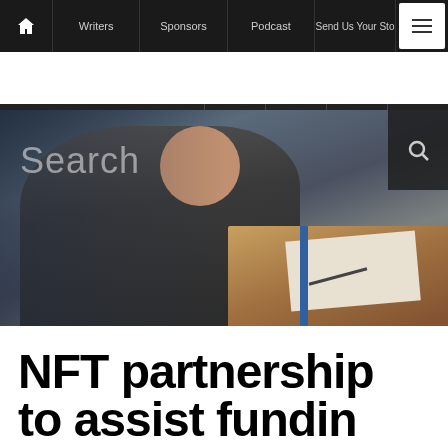Home | Writers | Sponsors | Podcast | Send Us Your Story | Menu
[Figure (screenshot): Website navigation bar with home icon, Writers, Sponsors, Podcast, Send Us Your Story links, and hamburger menu button]
[Figure (screenshot): Social media icon bar with Facebook, Twitter, Instagram, RSS feed icons on dark background]
[Figure (photo): Search bar overlay on a photo of a man in a suit sitting at a desk with papers, viewed from behind/side angle. Search text and magnifying glass icon visible.]
NFT partnership to assist funding